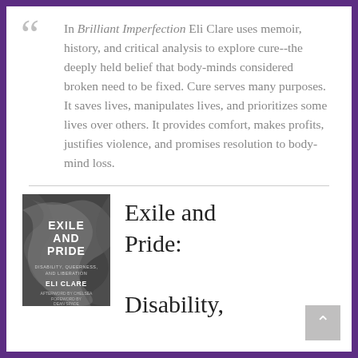In Brilliant Imperfection Eli Clare uses memoir, history, and critical analysis to explore cure--the deeply held belief that body-minds considered broken need to be fixed. Cure serves many purposes. It saves lives, manipulates lives, and prioritizes some lives over others. It provides comfort, makes profits, justifies violence, and promises resolution to body-mind loss.
[Figure (illustration): Book cover of Exile and Pride: Disability, Queerness, and Liberation by Eli Clare. Black and white swirling abstract background with white bold text.]
Exile and Pride: Disability, Queerness, and Liberation (Paperback)